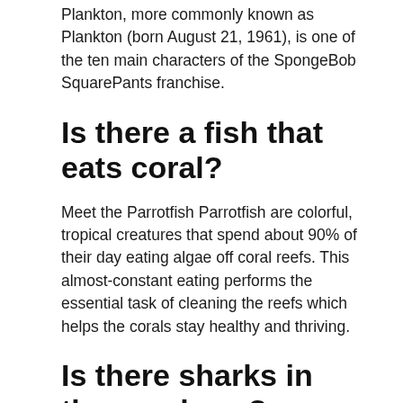Plankton, more commonly known as Plankton (born August 21, 1961), is one of the ten main characters of the SpongeBob SquarePants franchise.
Is there a fish that eats coral?
Meet the Parrotfish Parrotfish are colorful, tropical creatures that spend about 90% of their day eating algae off coral reefs. This almost-constant eating performs the essential task of cleaning the reefs which helps the corals stay healthy and thriving.
Is there sharks in the coral sea?
At least ten species of pelagic sharks move